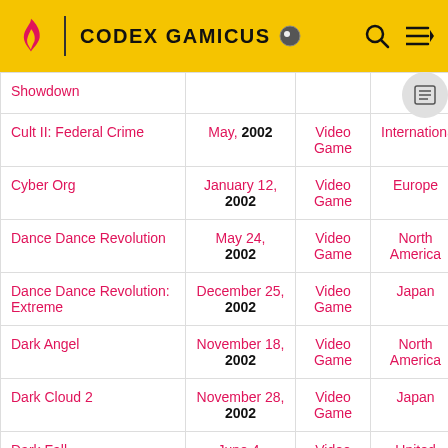CODEX GAMICUS
| Title | Date | Type | Region |  |
| --- | --- | --- | --- | --- |
| Showdown |  |  |  |  |
| Cult II: Federal Crime | May, 2002 | Video Game | International |  |
| Cyber Org | January 12, 2002 | Video Game | Europe | Pla |
| Dance Dance Revolution | May 24, 2002 | Video Game | North America | M W |
| Dance Dance Revolution: Extreme | December 25, 2002 | Video Game | Japan | A |
| Dark Angel | November 18, 2002 | Video Game | North America | Un |
| Dark Cloud 2 | November 28, 2002 | Video Game | Japan | Play |
| Dark Fall | June 4, | Video | United | W |